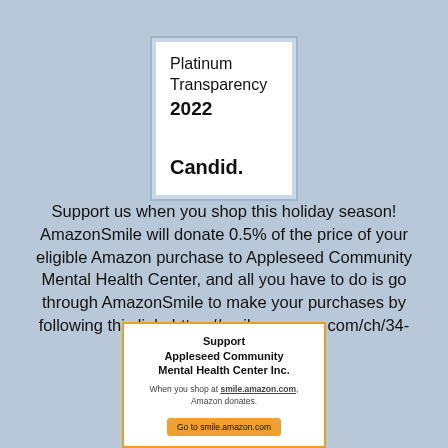[Figure (logo): Candid Platinum Transparency 2022 badge — white inner box with light blue outer border showing 'Platinum Transparency 2022' and 'Candid.' text]
Support us when you shop this holiday season! AmazonSmile will donate 0.5% of the price of your eligible Amazon purchase to Appleseed Community Mental Health Center, and all you have to do is go through AmazonSmile to make your purchases by following this link: https://smile.amazon.com/ch/34-1680201
[Figure (infographic): AmazonSmile donation badge with orange border. Title: 'Support Appleseed Community Mental Health Center Inc.' Sub-text: 'When you shop at smile.amazon.com, Amazon donates.' Button: 'Go to smile.amazon.com']